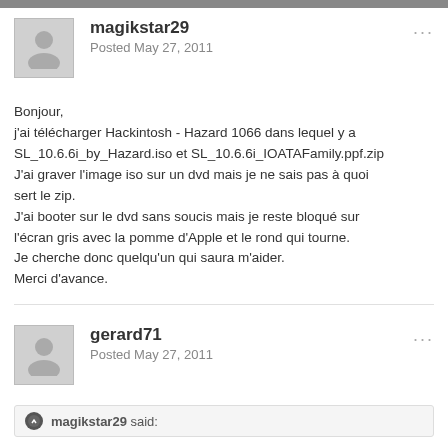magikstar29
Posted May 27, 2011
Bonjour,
j'ai télécharger Hackintosh - Hazard 1066 dans lequel y a SL_10.6.6i_by_Hazard.iso et SL_10.6.6i_IOATAFamily.ppf.zip
J'ai graver l'image iso sur un dvd mais je ne sais pas à quoi sert le zip.
J'ai booter sur le dvd sans soucis mais je reste bloqué sur l'écran gris avec la pomme d'Apple et le rond qui tourne.
Je cherche donc quelqu'un qui saura m'aider.
Merci d'avance.
gerard71
Posted May 27, 2011
magikstar29 said: